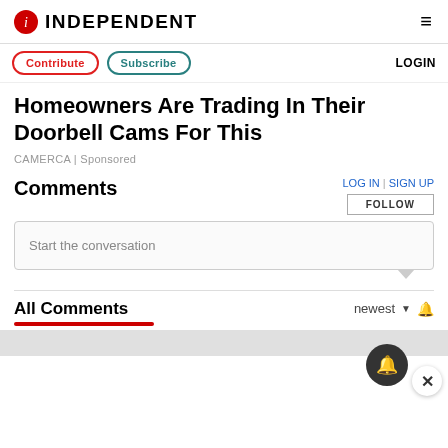INDEPENDENT
Contribute | Subscribe | LOGIN
Homeowners Are Trading In Their Doorbell Cams For This
CAMERCA | Sponsored
Comments
LOG IN | SIGN UP
FOLLOW
Start the conversation
All Comments
newest